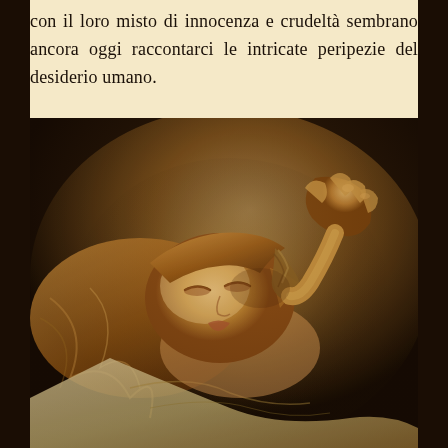con il loro misto di innocenza e crudeltà sembrano ancora oggi raccontarci le intricate peripezie del desiderio umano.
[Figure (photo): Sepia-toned dramatic photograph of a young woman lying back with eyes closed, hair spread out, holding a braided rope or whip near her face, wearing a white garment. Dark background with warm golden lighting.]